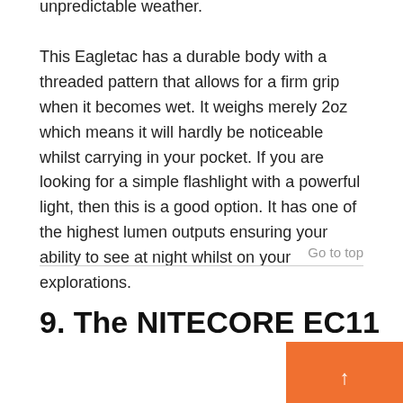unpredictable weather.
This Eagletac has a durable body with a threaded pattern that allows for a firm grip when it becomes wet. It weighs merely 2oz which means it will hardly be noticeable whilst carrying in your pocket. If you are looking for a simple flashlight with a powerful light, then this is a good option. It has one of the highest lumen outputs ensuring your ability to see at night whilst on your explorations.
Go to top
9. The NITECORE EC11